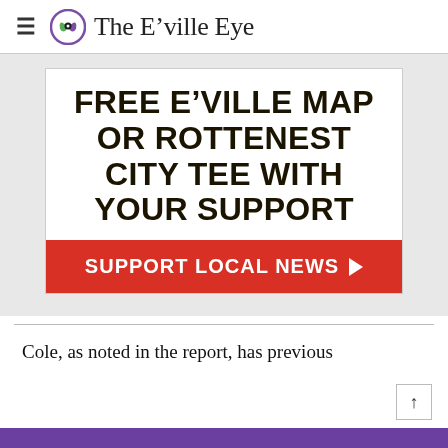The E'ville Eye
[Figure (infographic): Advertisement banner: 'FREE E'VILLE MAP OR ROTTENEST CITY TEE WITH YOUR SUPPORT' with a red 'SUPPORT LOCAL NEWS' button with arrow]
Cole, as noted in the report, has previous